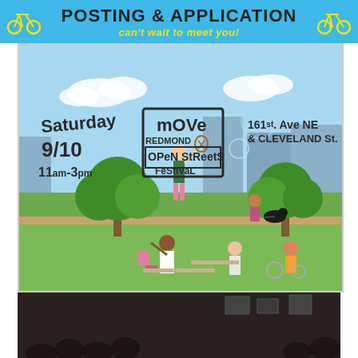[Figure (infographic): Top banner with sky blue background, bicycle icons on left and right, bold black text 'POSTING & APPLICATION' and yellow italic text 'can't wait to meet you!']
[Figure (illustration): Festival event poster for 'Move Redmond Open Streets Festival' on Saturday 9/10, 11am-3pm at 161st Ave NE & Cleveland St. Illustrated scene with people playing outdoors, trees, bubbles, buildings in background.]
[Figure (photo): Dark-toned photo of a coworking space with people seated, overlaid with bold white text: 'OUR MEMBERS CAN WORK FROM ANYWHERE. THEY CHOOSE TO WORK HERE.']